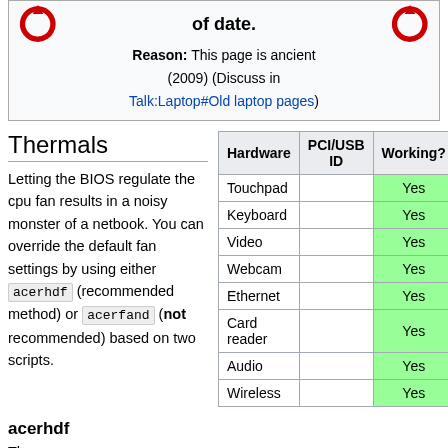of date. Reason: This page is ancient (2009) (Discuss in Talk:Laptop#Old laptop pages)
Thermals
| Hardware | PCI/USB ID | Working? |
| --- | --- | --- |
| Touchpad |  | Yes |
| Keyboard |  | Yes |
| Video |  | Yes |
| Webcam |  | Yes |
| Ethernet |  | Yes |
| Card reader |  | Yes |
| Audio |  | Yes |
| Wireless |  | Yes |
Letting the BIOS regulate the cpu fan results in a noisy monster of a netbook. You can override the default fan settings by using either acerhdf (recommended method) or acerfand (not recommended) based on two scripts.
acerhdf
The acerhdf kernel module to the firmware...